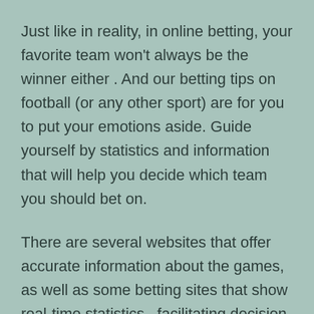Just like in reality, in online betting, your favorite team won't always be the winner either . And our betting tips on football (or any other sport) are for you to put your emotions aside. Guide yourself by statistics and information that will help you decide which team you should bet on.
There are several websites that offer accurate information about the games, as well as some betting sites that show real-time statistics , facilitating decision making.
For example,